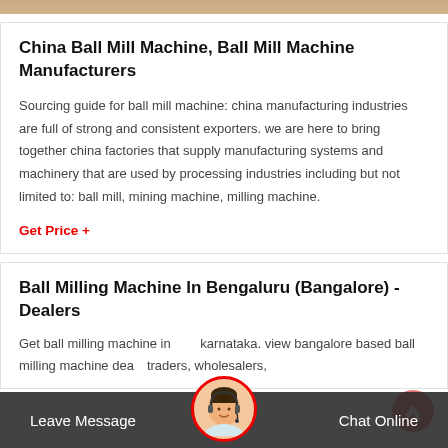[Figure (photo): Top image strip showing product/industrial background]
China Ball Mill Machine, Ball Mill Machine Manufacturers
Sourcing guide for ball mill machine: china manufacturing industries are full of strong and consistent exporters. we are here to bring together china factories that supply manufacturing systems and machinery that are used by processing industries including but not limited to: ball mill, mining machine, milling machine.
Get Price +
Ball Milling Machine In Bengaluru (Bangalore) - Dealers
Get ball milling machine in karnataka. view bangalore based ball milling machine dealers, traders, wholesalers,
[Figure (photo): Chat assistant avatar with headset, circular with red border]
Leave Message   Chat Online